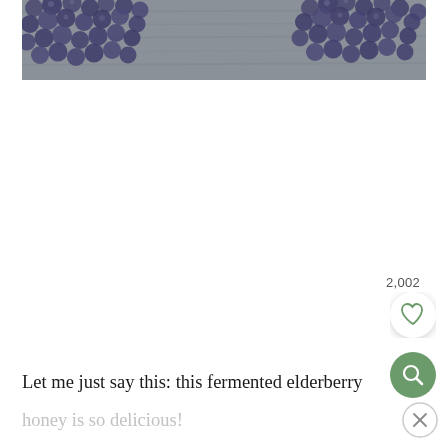[Figure (photo): Photo of dark purple elderberry clusters arranged on a wooden surface, cropped at top showing two clusters of berries on grey weathered wood planks.]
2,002
Let me just say this: this fermented elderberry
honey is so delicious!